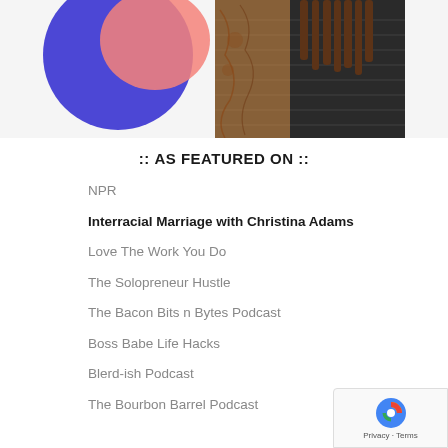[Figure (photo): Partial photo of a person with tattoos on their arm wearing a black ribbed outfit, with colorful abstract shapes (pink and blue) visible in the background top-left corner. Only the torso and arm area is visible, cropped at the top of the page.]
:: AS FEATURED ON ::
NPR
Interracial Marriage with Christina Adams
Love The Work You Do
The Solopreneur Hustle
The Bacon Bits n Bytes Podcast
Boss Babe Life Hacks
Blerd-ish Podcast
The Bourbon Barrel Podcast